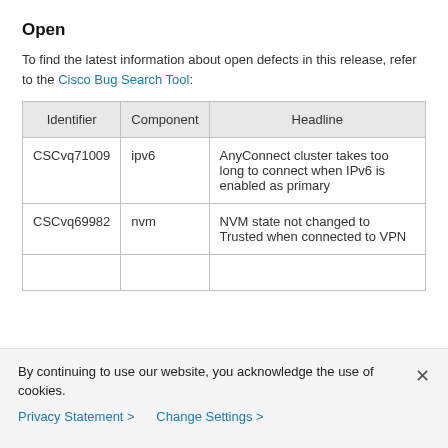Open
To find the latest information about open defects in this release, refer to the Cisco Bug Search Tool:
| Identifier | Component | Headline |
| --- | --- | --- |
| CSCvq71009 | ipv6 | AnyConnect cluster takes too long to connect when IPv6 is enabled as primary |
| CSCvq69982 | nvm | NVM state not changed to Trusted when connected to VPN |
By continuing to use our website, you acknowledge the use of cookies.
Privacy Statement > Change Settings >